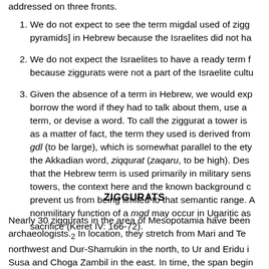addressed on three fronts.
We do not expect to see the term migdal used of zigg... pyramids] in Hebrew because the Israelites did not ha...
We do not expect the Israelites to have a ready term f... because ziggurats were not a part of the Israelite cultu...
Given the absence of a term in Hebrew, we would exp... borrow the word if they had to talk about them, use a ... term, or devise a word. To call the ziggurat a tower is ... as a matter of fact, the term they used is derived from ... gdl (to be large), which is somewhat parallel to the ety... the Akkadian word, ziqqurat (zaqaru, to be high). Des... that the Hebrew term is used primarily in military sens... towers, the context here and the known background c... prevent us from being limited to that semantic range. A... nonmilitary function of a mgd may occur in Ugaritic as... sacrifice (Keret IV: 166-72).
ZIGGURATS
Nearly 30 ziggurats in the area of Mesopotamia have been... archaeologists.<2> In location, they stretch from Mari and Te... northwest and Dur-Sharrukin in the north, to Ur and Eridu i... Susa and Choga Zambil in the east. In time, the span begin... as the Ubaid temples at Eridu (end of the 5th millennium BC...